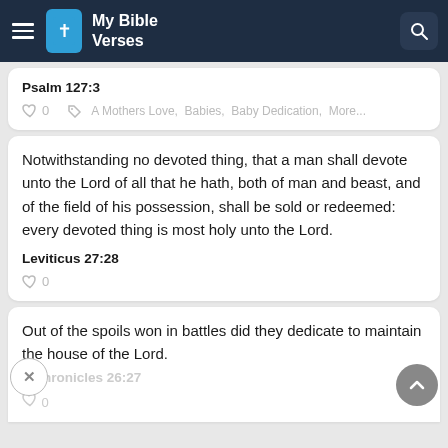My Bible Verses
Psalm 127:3
0   A Mothers Love,  Babies,  Baby Dedication,  More...
Notwithstanding no devoted thing, that a man shall devote unto the Lord of all that he hath, both of man and beast, and of the field of his possession, shall be sold or redeemed: every devoted thing is most holy unto the Lord.
Leviticus 27:28
0
Out of the spoils won in battles did they dedicate to maintain the house of the Lord.
1 Chronicles 26:27
0